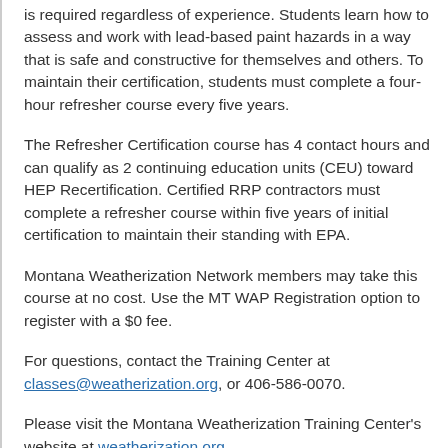is required regardless of experience. Students learn how to assess and work with lead-based paint hazards in a way that is safe and constructive for themselves and others. To maintain their certification, students must complete a four-hour refresher course every five years.
The Refresher Certification course has 4 contact hours and can qualify as 2 continuing education units (CEU) toward HEP Recertification. Certified RRP contractors must complete a refresher course within five years of initial certification to maintain their standing with EPA.
Montana Weatherization Network members may take this course at no cost. Use the MT WAP Registration option to register with a $0 fee.
For questions, contact the Training Center at classes@weatherization.org, or 406-586-0070.
Please visit the Montana Weatherization Training Center's website at weatherization.org.